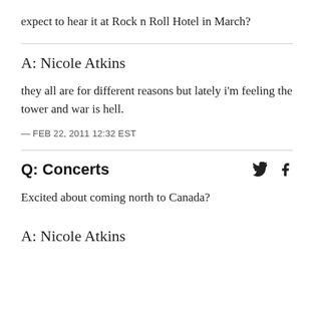expect to hear it at Rock n Roll Hotel in March?
A: Nicole Atkins
they all are for different reasons but lately i'm feeling the tower and war is hell.
— FEB 22, 2011 12:32 EST
Q: Concerts
Excited about coming north to Canada?
A: Nicole Atkins